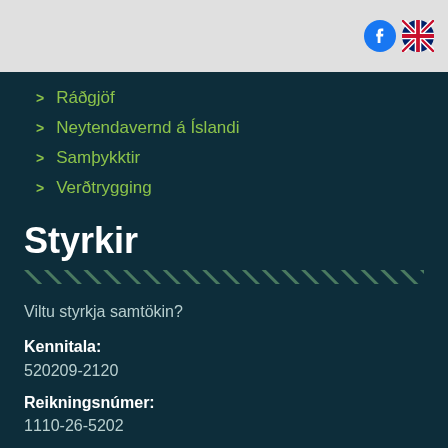[Figure (logo): Facebook icon and UK flag icon in top right corner]
Ráðgjöf
Neytendavernd á Íslandi
Samþykktir
Verðtrygging
Styrkir
Viltu styrkja samtökin?
Kennitala:
520209-2120
Reikningsnúmer:
1110-26-5202